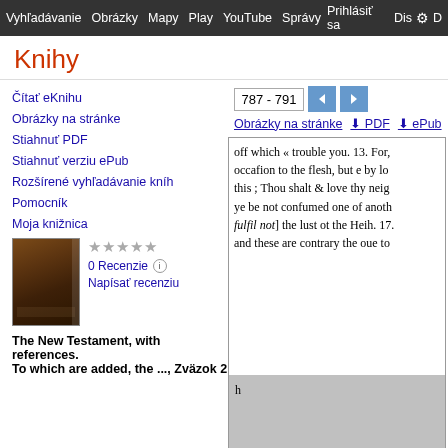Vyhľadávanie  Obrázky  Mapy  Play  YouTube  Správy  Prihlásiť sa  Dis D
Knihy
Čítať eKnihu
Obrázky na stránke
Stiahnuť PDF
Stiahnuť verziu ePub
Rozšírené vyhľadávanie kníh
Pomocník
Moja knižnica
0 Recenzie
Napísať recenziu
The New Testament, with references.
To which are added, the ..., Zväzok 2
[Figure (screenshot): Page viewer showing text from The New Testament: 'off which « trouble you. 13. For, occafion to the flesh, but e by lo this ; Thou shalt & love thy neig ye be not confumed one of anoth fulfil not] the lust ot the Heih. 17. and these are contrary the oue to' followed by gray area with letter 'h' and numeral '1' at bottom, and navigation showing 787-791]
787 - 791
Obrázky na stránke  ⬇ PDF  ⬇ ePub